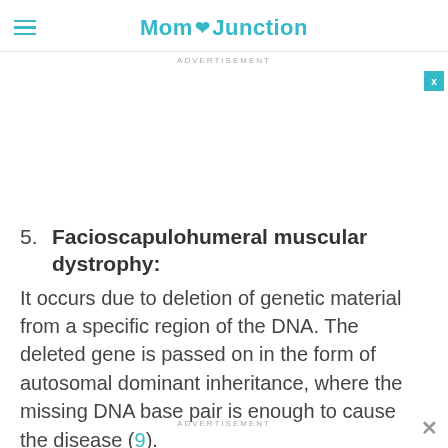MomJunction
ADVERTISEMENT
5. Facioscapulohumeral muscular dystrophy: It occurs due to deletion of genetic material from a specific region of the DNA. The deleted gene is passed on in the form of autosomal dominant inheritance, where the missing DNA base pair is enough to cause the disease (9). This...
ADVERTISEMENT